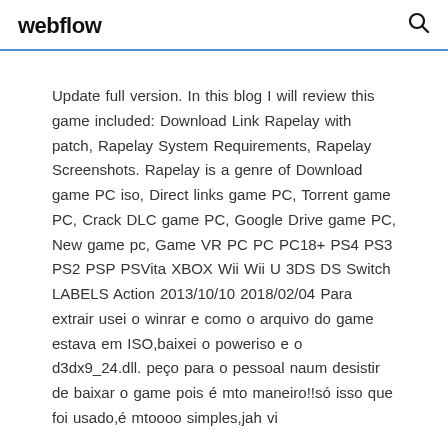webflow
Update full version. In this blog I will review this game included: Download Link Rapelay with patch, Rapelay System Requirements, Rapelay Screenshots. Rapelay is a genre of Download game PC iso, Direct links game PC, Torrent game PC, Crack DLC game PC, Google Drive game PC, New game pc, Game VR PC PC PC18+ PS4 PS3 PS2 PSP PSVita XBOX Wii Wii U 3DS DS Switch LABELS Action 2013/10/10 2018/02/04 Para extrair usei o winrar e como o arquivo do game estava em ISO,baixei o poweriso e o d3dx9_24.dll. peço para o pessoal naum desistir de baixar o game pois é mto maneiro!!só isso que foi usado,é mtoooo simples,jah vi